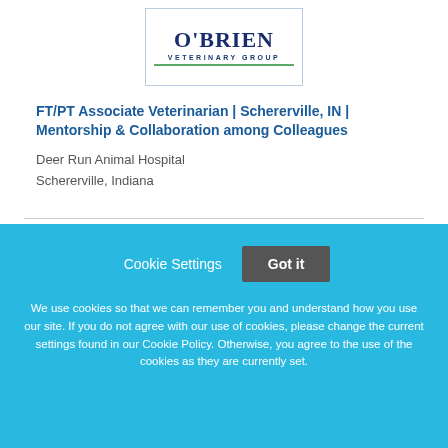[Figure (logo): O'Brien Veterinary Group logo with green underline]
FT/PT Associate Veterinarian | Schererville, IN | Mentorship & Collaboration among Colleagues
Deer Run Animal Hospital
Schererville, Indiana
Cookie Settings  Got it
We use cookies so that we can remember you and understand how you use our site. If you do not agree with our use of cookies, please change the current settings found in our Cookie Policy. Otherwise, you agree to the use of the cookies as they are currently set.